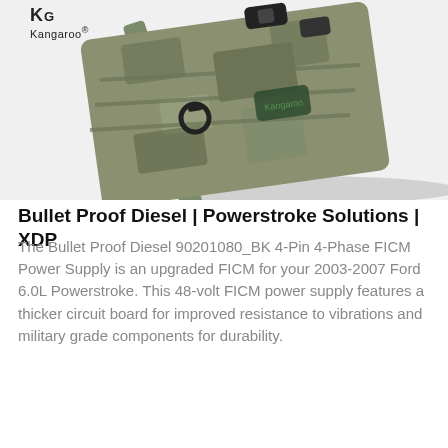[Figure (photo): Tactical camouflage MOLLE pouch/holster in military digital ACU pattern with black hardware clips and D-ring, shown at an angle on a white background. KG Kangaroo logo in top-left corner.]
Bullet Proof Diesel | Powerstroke Solutions | XDP
The Bullet Proof Diesel 90201080_BK 4-Pin 4-Phase FICM Power Supply is an upgraded FICM for your 2003-2007 Ford 6.0L Powerstroke. This 48-volt FICM power supply features a thicker circuit board for improved resistance to vibrations and military grade components for durability.